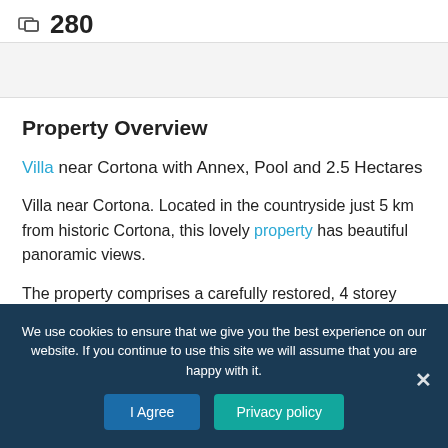280
Property Overview
Villa near Cortona with Annex, Pool and 2.5 Hectares
Villa near Cortona. Located in the countryside just 5 km from historic Cortona, this lovely property has beautiful panoramic views.
The property comprises a carefully restored, 4 storey villa
We use cookies to ensure that we give you the best experience on our website. If you continue to use this site we will assume that you are happy with it.